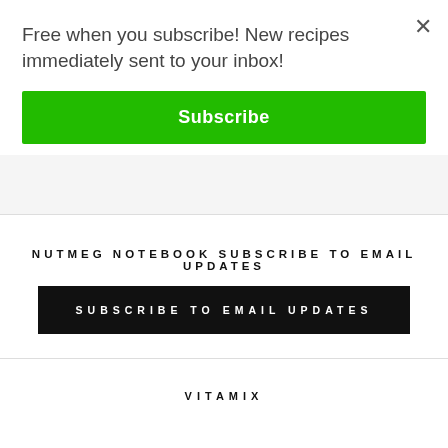Free when you subscribe! New recipes immediately sent to your inbox!
Subscribe
×
NUTMEG NOTEBOOK SUBSCRIBE TO EMAIL UPDATES
SUBSCRIBE TO EMAIL UPDATES
VITAMIX